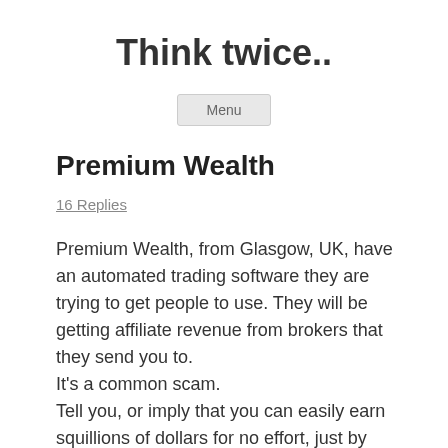Think twice..
[Figure (other): Menu navigation button]
Premium Wealth
16 Replies
Premium Wealth, from Glasgow, UK, have an automated trading software they are trying to get people to use. They will be getting affiliate revenue from brokers that they send you to. It’s a common scam. Tell you, or imply that you can easily earn squillions of dollars for no effort, just by using their automated, intelligent, artificial intelligence, trading software.